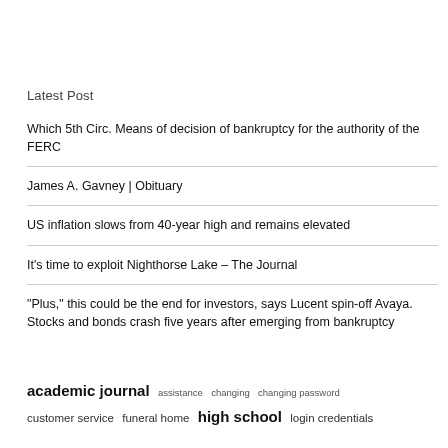Latest Post
Which 5th Circ. Means of decision of bankruptcy for the authority of the FERC
James A. Gavney | Obituary
US inflation slows from 40-year high and remains elevated
It's time to exploit Nighthorse Lake – The Journal
“Plus,” this could be the end for investors, says Lucent spin-off Avaya. Stocks and bonds crash five years after emerging from bankruptcy
academic journal  assistance  changing  changing password  customer service  funeral home  high school  login credentials  oklahoma city